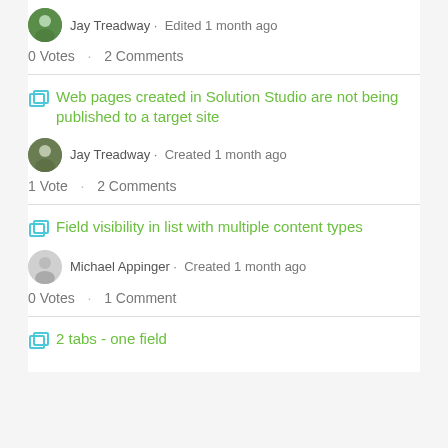Jay Treadway · Edited 1 month ago
0 Votes · 2 Comments
Web pages created in Solution Studio are not being published to a target site
Jay Treadway · Created 1 month ago
1 Vote · 2 Comments
Field visibility in list with multiple content types
Michael Appinger · Created 1 month ago
0 Votes · 1 Comment
2 tabs - one field